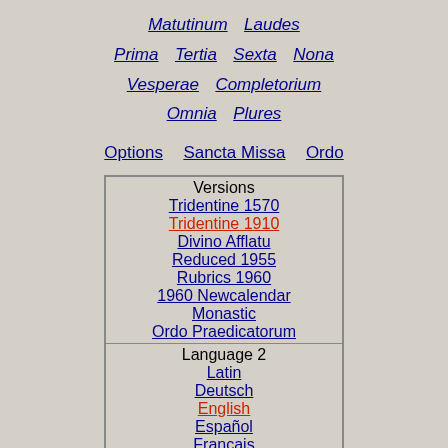Matutinum   Laudes
Prima   Tertia   Sexta   Nona
Vesperae   Completorium
Omnia   Plures
Options   Sancta Missa   Ordo
| Versions |
| --- |
| Tridentine 1570 |
| Tridentine 1910 |
| Divino Afflatu |
| Reduced 1955 |
| Rubrics 1960 |
| 1960 Newcalendar |
| Monastic |
| Ordo Praedicatorum |
| Language 2 |
| --- |
| Latin |
| Deutsch |
| English |
| Español |
| Français |
| Italiano |
| Magyar |